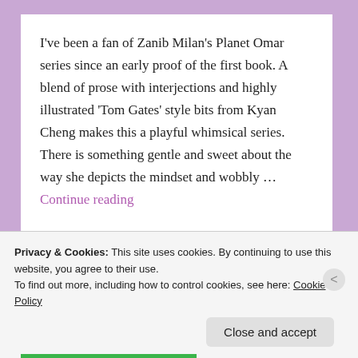I've been a fan of Zanib Milan's Planet Omar series since an early proof of the first book. A blend of prose with interjections and highly illustrated 'Tom Gates' style bits from Kyan Cheng makes this a playful whimsical series. There is something gentle and sweet about the way she depicts the mindset and wobbly … Continue reading
Privacy & Cookies: This site uses cookies. By continuing to use this website, you agree to their use.
To find out more, including how to control cookies, see here: Cookie Policy